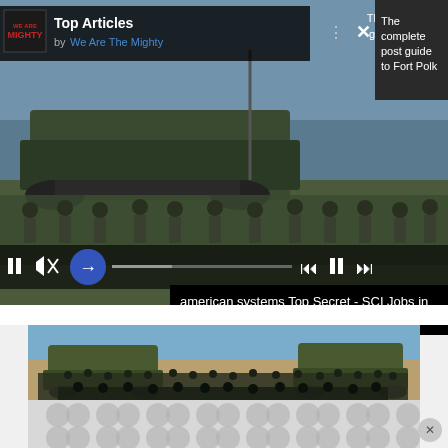[Figure (screenshot): Video widget showing military soldiers standing in front of a tank/armored vehicle. Contains media player controls including pause, mute, navigation arrow, progress bar, and skip buttons. Header shows 'Top Articles by We Are The Mighty' logo. Right side shows dark panel with text 'The complete post guide to Fort Polk'.]
Top Articles
by We Are The Mighty
The complete post guide to Fort Polk
american systems Top Secret - SCI Jobs in Ashburn Apply Now
[Figure (photo): Large group photo of military soldiers posed with military vehicles (Humvees) on sandy/desert terrain. Soldiers are in military uniforms/fatigues. Large group filling the width of the image.]
[Figure (photo): Bottom advertisement strip with repeating circular logo pattern on light gray background.]